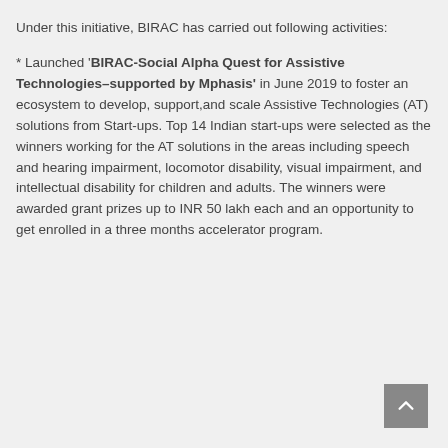Under this initiative, BIRAC has carried out following activities:
* Launched 'BIRAC-Social Alpha Quest for Assistive Technologies–supported by Mphasis' in June 2019 to foster an ecosystem to develop, support,and scale Assistive Technologies (AT) solutions from Start-ups. Top 14 Indian start-ups were selected as the winners working for the AT solutions in the areas including speech and hearing impairment, locomotor disability, visual impairment, and intellectual disability for children and adults. The winners were awarded grant prizes up to INR 50 lakh each and an opportunity to get enrolled in a three months accelerator program.